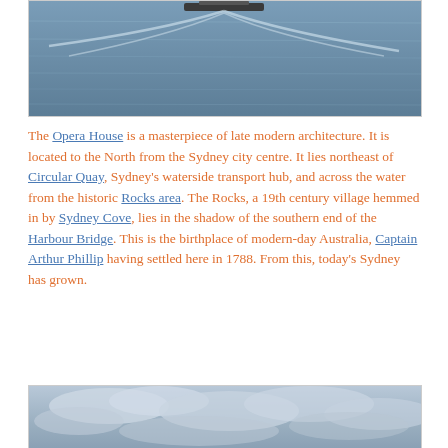[Figure (photo): Photo of open water (harbour/ocean) with a boat and white wake trails on a blue-grey sea surface.]
The Opera House is a masterpiece of late modern architecture. It is located to the North from the Sydney city centre. It lies northeast of Circular Quay, Sydney's waterside transport hub, and across the water from the historic Rocks area. The Rocks, a 19th century village hemmed in by Sydney Cove, lies in the shadow of the southern end of the Harbour Bridge. This is the birthplace of modern-day Australia, Captain Arthur Phillip having settled here in 1788. From this, today's Sydney has grown.
[Figure (photo): Photo of a cloudy, overcast sky over water, light grey-blue tones.]